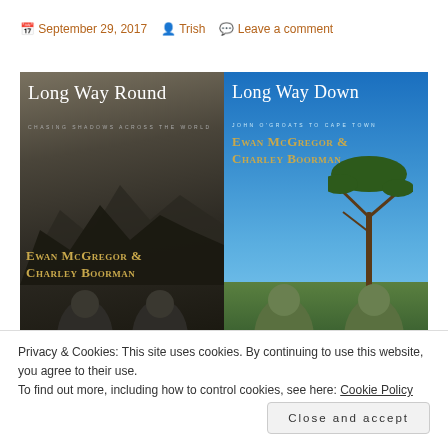September 29, 2017  Trish  Leave a comment
[Figure (photo): Two book covers side by side. Left: 'Long Way Round – Chasing Shadows Across the World' by Ewan McGregor & Charley Boorman, dark sepia mountain background with two men at the bottom. Right: 'Long Way Down – John O'Groats to Cape Town' by Ewan McGregor & Charley Boorman, blue sky with an acacia tree and two men at the bottom.]
Privacy & Cookies: This site uses cookies. By continuing to use this website, you agree to their use.
To find out more, including how to control cookies, see here: Cookie Policy
Close and accept